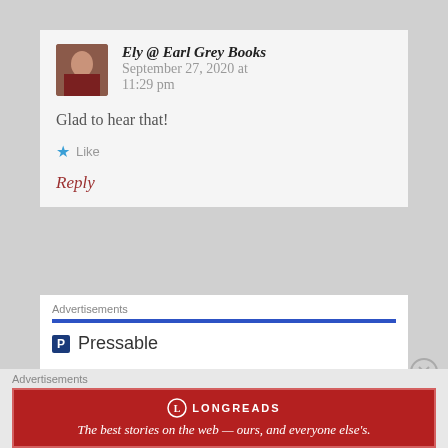Ely @ Earl Grey Books — September 27, 2020 at 11:29 pm
Glad to hear that!
Like
Reply
Advertisements
[Figure (logo): Pressable logo with navy P icon and text 'Pressable', followed by dots and 'The Platform' heading]
Advertisements
[Figure (infographic): Longreads advertisement banner: red background, Longreads circle logo, tagline 'The best stories on the web — ours, and everyone else's.']